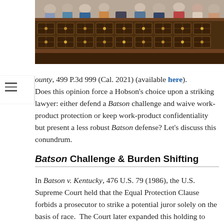[Figure (photo): Courtroom photo showing people seated behind a dark ornate wooden bench/railing with decorative paneling]
ounty, 499 P.3d 999 (Cal. 2021) (available here). Does this opinion force a Hobson's choice upon a striking lawyer: either defend a Batson challenge and waive work-product protection or keep work-product confidentiality but present a less robust Batson defense? Let's discuss this conundrum.
Batson Challenge & Burden Shifting
In Batson v. Kentucky, 476 U.S. 79 (1986), the U.S. Supreme Court held that the Equal Protection Clause forbids a prosecutor to strike a potential juror solely on the basis of race. The Court later expanded this holding to civil cases, Edmonson v. Leesville Concrete